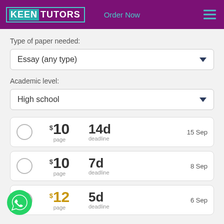[Figure (logo): KeenTutors logo with teal KEEN on dark background and white TUTORS, with Order Now link and hamburger menu on purple header]
Type of paper needed:
Essay (any type)
Academic level:
High school
$10 page  14d deadline  15 Sep
$10 page  7d deadline  8 Sep
$12 page  5d deadline  6 Sep